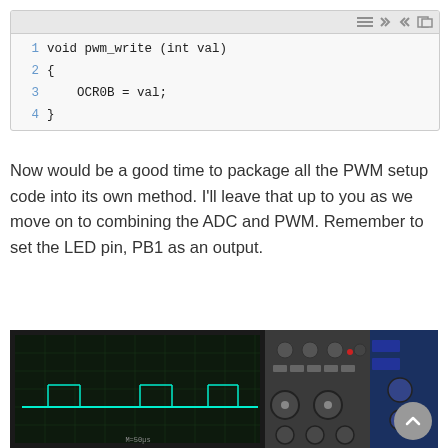[Figure (screenshot): Code editor screenshot showing a 4-line C function: void pwm_write(int val) { OCR0B = val; }]
Now would be a good time to package all the PWM setup code into its own method. I’ll leave that up to you as we move on to combining the ADC and PWM. Remember to set the LED pin, PB1 as an output.
[Figure (photo): Photo of an oscilloscope showing a flat horizontal line (PWM signal) on its screen, with the oscilloscope controls visible on the right side.]